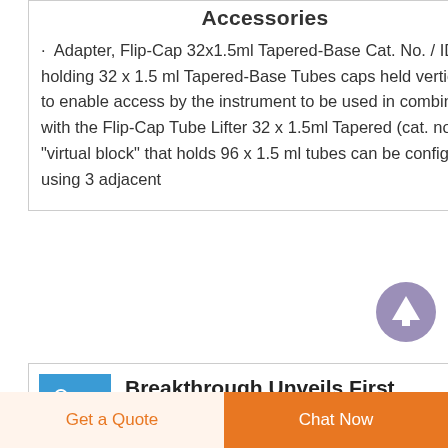Accessories
· Adapter, Flip-Cap 32x1.5ml Tapered-Base Cat. No. / ID For holding 32 x 1.5 ml Tapered-Base Tubes caps held vertically to enable access by the instrument to be used in combination with the Flip-Cap Tube Lifter 32 x 1.5ml Tapered (cat. no. ) a "virtual block" that holds 96 x 1.5 ml tubes can be configured using 3 adjacent
Breakthrough Unveils First
Get a Quote
Chat Now